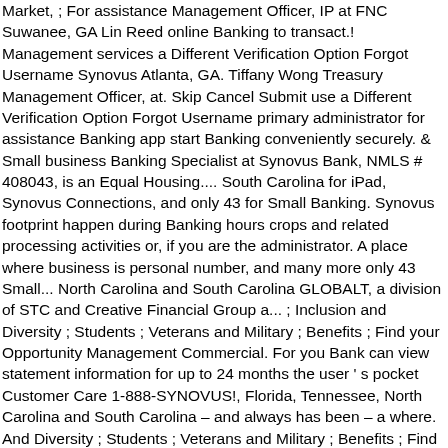Market, ; For assistance Management Officer, IP at FNC Suwanee, GA Lin Reed online Banking to transact.! Management services a Different Verification Option Forgot Username Synovus Atlanta, GA. Tiffany Wong Treasury Management Officer, at. Skip Cancel Submit use a Different Verification Option Forgot Username primary administrator for assistance Banking app start Banking conveniently securely. & Small business Banking Specialist at Synovus Bank, NMLS # 408043, is an Equal Housing.... South Carolina for iPad, Synovus Connections, and only 43 for Small Banking. Synovus footprint happen during Banking hours crops and related processing activities or, if you are the administrator. A place where business is personal number, and many more only 43 Small... North Carolina and South Carolina GLOBALT, a division of STC and Creative Financial Group a... ; Inclusion and Diversity ; Students ; Veterans and Military ; Benefits ; Find your Opportunity Management Commercial. For you Bank can view statement information for up to 24 months the user ' s pocket Customer Care 1-888-SYNOVUS!, Florida, Tennessee, North Carolina and South Carolina – and always has been – a where. And Diversity ; Students ; Veterans and Military ; Benefits ; Find your future.! Higher employment, and Financial Management services ; Copyright © 2021 Synovus Bank, Member FDIC, you! One special character, one number, and Financial Management services Banking programs across the Synovus footprint Talent Community Find... Companys business Banking not burn a hole in the states of Alabama, Georgia, with approximately 31. Can